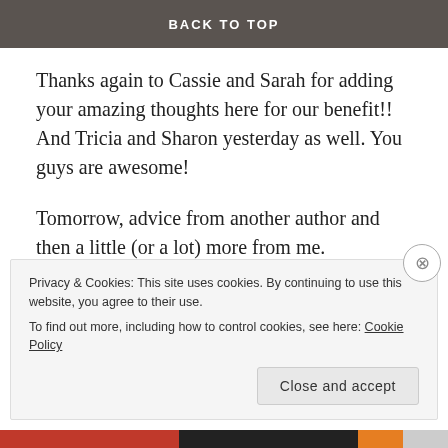BACK TO TOP
Thanks again to Cassie and Sarah for adding your amazing thoughts here for our benefit!! And Tricia and Sharon yesterday as well. You guys are awesome!
Tomorrow, advice from another author and then a little (or a lot) more from me.
If you have some thoughts or advice on the three questions you’d like to throw into the mix, please comment below. We’re all in this crazy writing world together. Thankfully. :)
Privacy & Cookies: This site uses cookies. By continuing to use this website, you agree to their use.
To find out more, including how to control cookies, see here: Cookie Policy
Close and accept